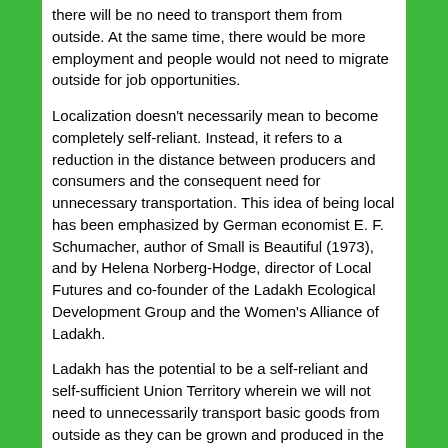there will be no need to transport them from outside. At the same time, there would be more employment and people would not need to migrate outside for job opportunities.
Localization doesn't necessarily mean to become completely self-reliant. Instead, it refers to a reduction in the distance between producers and consumers and the consequent need for unnecessary transportation. This idea of being local has been emphasized by German economist E. F. Schumacher, author of Small is Beautiful (1973), and by Helena Norberg-Hodge, director of Local Futures and co-founder of the Ladakh Ecological Development Group and the Women's Alliance of Ladakh.
Ladakh has the potential to be a self-reliant and self-sufficient Union Territory wherein we will not need to unnecessarily transport basic goods from outside as they can be grown and produced in the region. This includes vegetables and fruits as well as education facilities and job opportunities. There are many advantages to being local and consuming locally-produced goods. It ensures quality assurance for products as one can trace their origins easily.